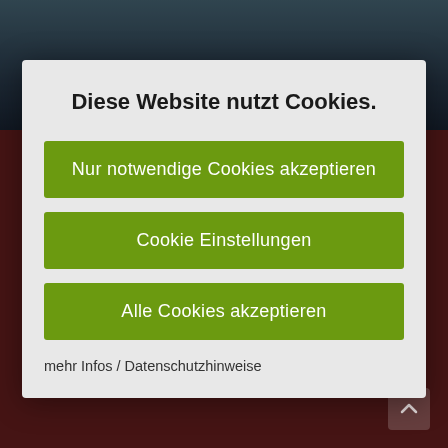[Figure (screenshot): Website background showing dark blue/navy header area and dark red lower section with partially visible text and contact info (watermark text behind modal)]
Diese Website nutzt Cookies.
Nur notwendige Cookies akzeptieren
Cookie Einstellungen
Alle Cookies akzeptieren
mehr Infos / Datenschutzhinweise